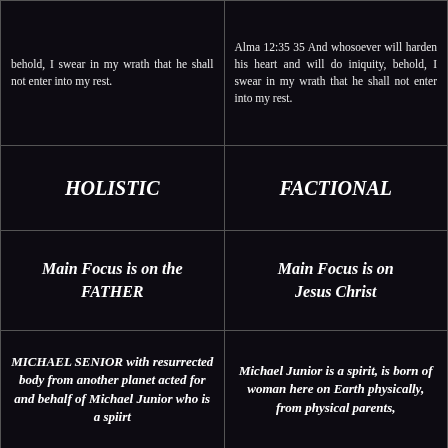behold, I swear in my wrath that he shall not enter into my rest.
Alma 12:35 35 And whosoever will harden his heart and will do iniquity, behold, I swear in my wrath that he shall not enter into my rest.
HOLISTIC
FACTIONAL
Main Focus is on the FATHER
Main Focus is on Jesus Christ
MICHAEL SENIOR with resurrected body from another planet acted for and behalf of Michael Junior who is a spiirt
Michael Junior is a spirit, is born of woman here on Earth physically, from physical parents,